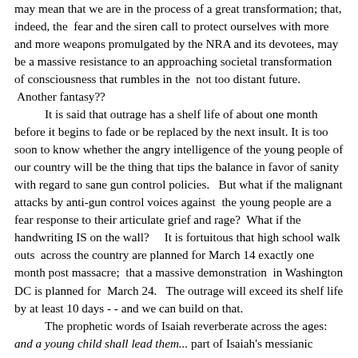may mean that we are in the process of a great transformation; that, indeed, the fear and the siren call to protect ourselves with more and more weapons promulgated by the NRA and its devotees, may be a massive resistance to an approaching societal transformation of consciousness that rumbles in the not too distant future. Another fantasy??

It is said that outrage has a shelf life of about one month before it begins to fade or be replaced by the next insult. It is too soon to know whether the angry intelligence of the young people of our country will be the thing that tips the balance in favor of sanity with regard to sane gun control policies. But what if the malignant attacks by anti-gun control voices against the young people are a fear response to their articulate grief and rage? What if the handwriting IS on the wall? It is fortuitous that high school walk outs across the country are planned for March 14 exactly one month post massacre; that a massive demonstration in Washington DC is planned for March 24. The outrage will exceed its shelf life by at least 10 days - - and we can build on that.

The prophetic words of Isaiah reverberate across the ages: and a young child shall lead them... part of Isaiah's messianic